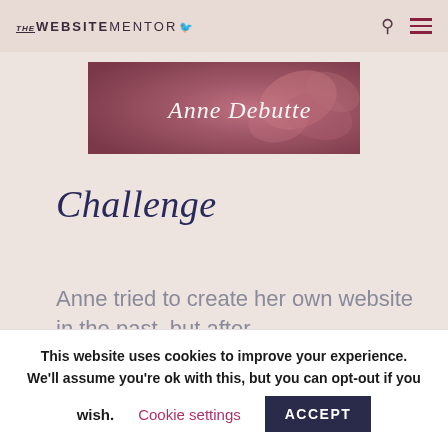THE WEBSITE MENTOR
[Figure (photo): Banner image with pink floral background and cursive text reading 'Anne Debutte']
Challenge
Anne tried to create her own website in the past, but after
This website uses cookies to improve your experience. We'll assume you're ok with this, but you can opt-out if you wish. Cookie settings ACCEPT